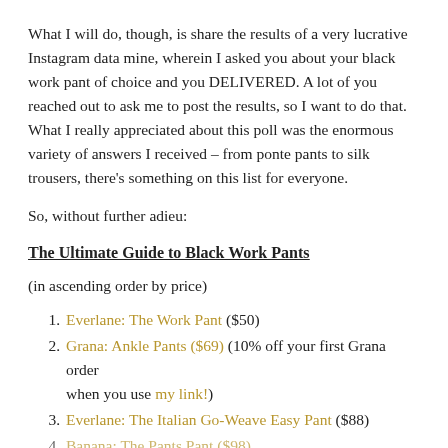What I will do, though, is share the results of a very lucrative Instagram data mine, wherein I asked you about your black work pant of choice and you DELIVERED. A lot of you reached out to ask me to post the results, so I want to do that. What I really appreciated about this poll was the enormous variety of answers I received – from ponte pants to silk trousers, there's something on this list for everyone.
So, without further adieu:
The Ultimate Guide to Black Work Pants
(in ascending order by price)
Everlane: The Work Pant ($50)
Grana: Ankle Pants ($69) (10% off your first Grana order when you use my link!)
Everlane: The Italian Go-Weave Easy Pant ($88)
Banana: The Pants Pant ($98)